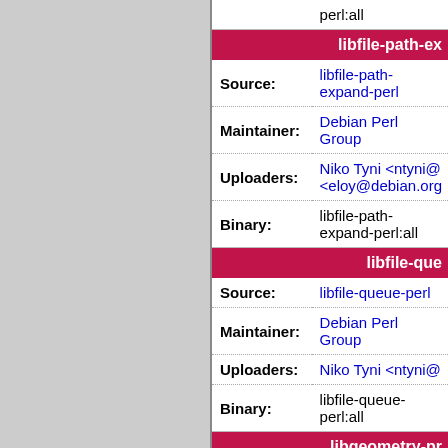| Field | Value |
| --- | --- |
|  | perl:all |
| libfile-path-ex... |  |
| Source: | libfile-path-expand-perl |
| Maintainer: | Debian Perl Group |
| Uploaders: | Niko Tyni <ntyni@...
<eloy@debian.org... |
| Binary: | libfile-path-expand-perl:all |
| libfile-que... |  |
| Source: | libfile-queue-perl |
| Maintainer: | Debian Perl Group |
| Uploaders: | Niko Tyni <ntyni@... |
| Binary: | libfile-queue-perl:all |
| libgeometry-pr... |  |
| Source: | libgeometry-primitive-perl |